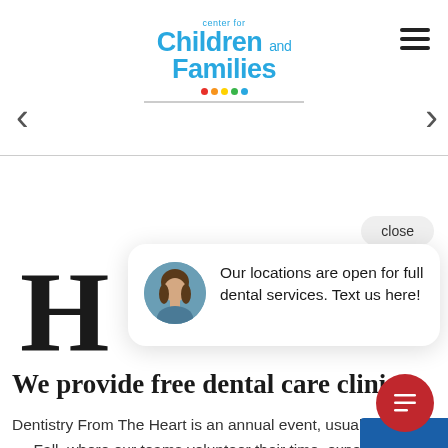center for Children and Families
Our locations are open for full dental services. Text us here!
We provide free dental care clinics
Dentistry From The Heart is an annual event, usually h[eld in the] Fall, where our teams volunteer their time, expertise and